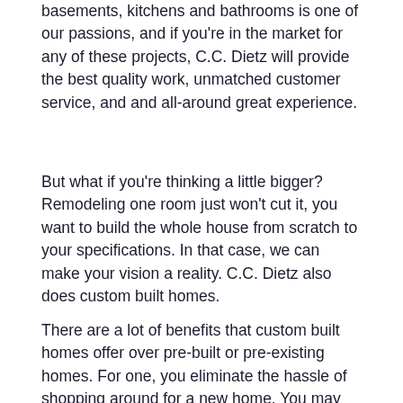basements, kitchens and bathrooms is one of our passions, and if you're in the market for any of these projects, C.C. Dietz will provide the best quality work, unmatched customer service, and and all-around great experience.
But what if you're thinking a little bigger? Remodeling one room just won't cut it, you want to build the whole house from scratch to your specifications. In that case, we can make your vision a reality. C.C. Dietz also does custom built homes.
There are a lot of benefits that custom built homes offer over pre-built or pre-existing homes. For one, you eliminate the hassle of shopping around for a new home. You may find a home you like, but is it the perfect home for you? A custom built home has everything you want, because you yourself get to create it. This is another advantage of custom built h... You'll never be unsatisfied with your home, because eve... will be just the way you want it. Build that beautiful kitch... you've always wanted, or a finished basement with a bar and a